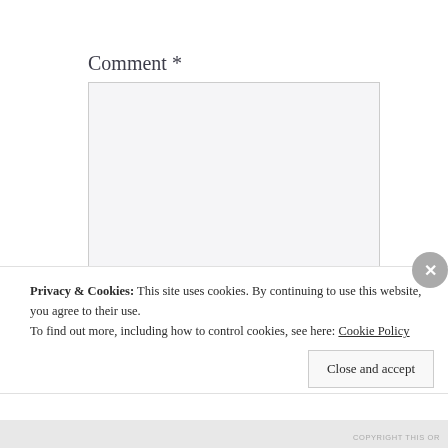Comment *
[Figure (screenshot): Empty comment textarea input box with light gray background and thin border]
Privacy & Cookies: This site uses cookies. By continuing to use this website, you agree to their use.
To find out more, including how to control cookies, see here: Cookie Policy
Close and accept
COPYRIGHT THIS OR